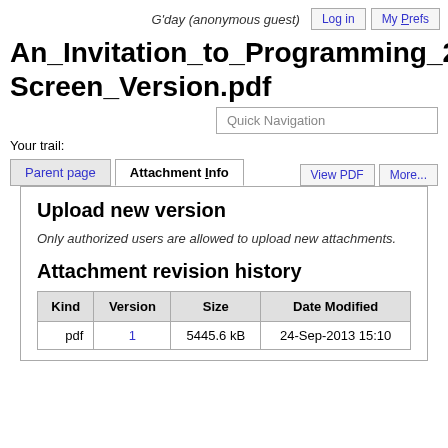G'day (anonymous guest)   Log in   My Prefs
An_Invitation_to_Programming_2_Screen_Version.pdf
Quick Navigation
Your trail:
Upload new version
Only authorized users are allowed to upload new attachments.
Attachment revision history
| Kind | Version | Size | Date Modified |
| --- | --- | --- | --- |
| pdf | 1 | 5445.6 kB | 24-Sep-2013 15:10 |